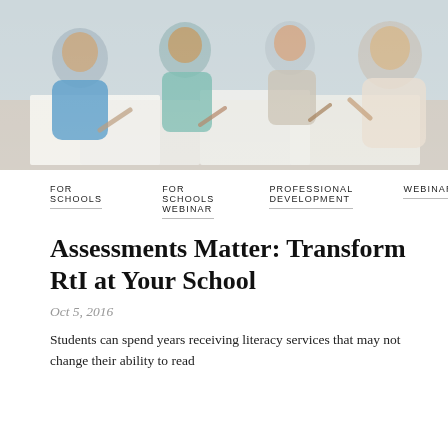[Figure (photo): Students and teacher sitting together around a desk, studying and writing, with notebooks and papers on the table.]
FOR SCHOOLS
FOR SCHOOLS WEBINAR
PROFESSIONAL DEVELOPMENT
WEBINAR
Assessments Matter: Transform RtI at Your School
Oct 5, 2016
Students can spend years receiving literacy services that may not change their ability to read